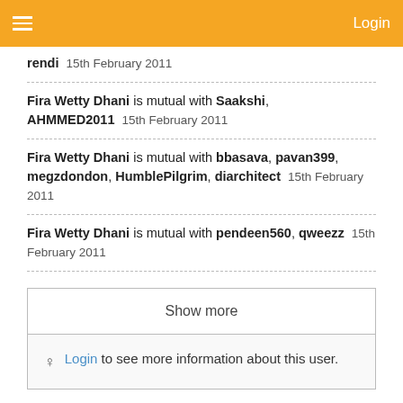≡   Login
rendi   15th February 2011
Fira Wetty Dhani is mutual with Saakshi, AHMMED2011   15th February 2011
Fira Wetty Dhani is mutual with bbasava, pavan399, megzdondon, HumblePilgrim, diarchitect   15th February 2011
Fira Wetty Dhani is mutual with pendeen560, qweezz   15th February 2011
Show more
👁 Login to see more information about this user.